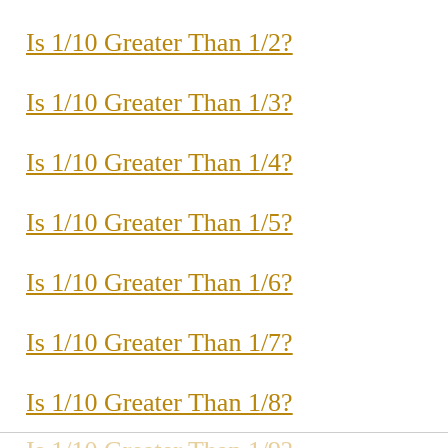Is 1/10 Greater Than 1/2?
Is 1/10 Greater Than 1/3?
Is 1/10 Greater Than 1/4?
Is 1/10 Greater Than 1/5?
Is 1/10 Greater Than 1/6?
Is 1/10 Greater Than 1/7?
Is 1/10 Greater Than 1/8?
Is 1/10 Greater Than 1/9?